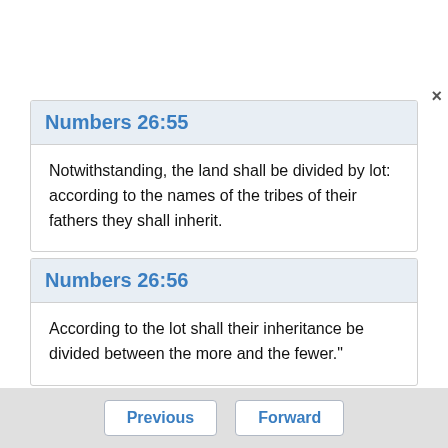Numbers 26:55
Notwithstanding, the land shall be divided by lot: according to the names of the tribes of their fathers they shall inherit.
Numbers 26:56
According to the lot shall their inheritance be divided between the more and the fewer."
Previous  Forward